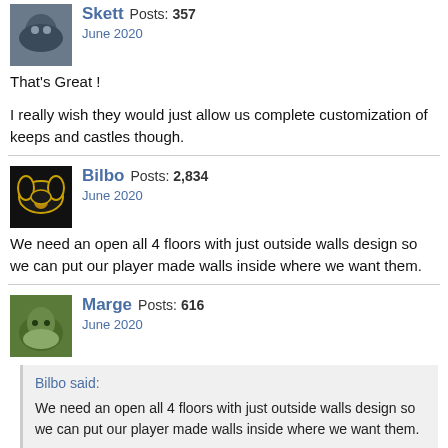Skett  Posts: 357
June 2020
That's Great !
I really wish they would just allow us complete customization of keeps and castles though.
Bilbo  Posts: 2,834
June 2020
We need an open all 4 floors with just outside walls design so we can put our player made walls inside where we want them.
Marge  Posts: 616
June 2020
Bilbo said:
We need an open all 4 floors with just outside walls design so we can put our player made walls inside where we want them.